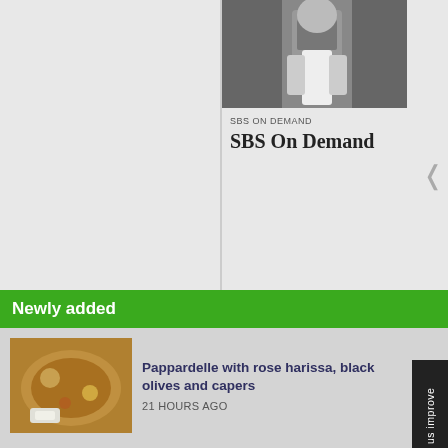[Figure (screenshot): SBS On Demand app screenshot showing top panel with blurred left side and right panel with a person in white t-shirt image, 'SBS ON DEMAND' label and 'SBS On Demand' title]
Newly added
[Figure (photo): Thumbnail of Pappardelle dish with rose harissa]
Pappardelle with rose harissa, black olives and capers
21 HOURS AGO
[Figure (photo): Thumbnail for Asian breakfast favourites article (broken image)]
Boost your mornings with these Asian breakfast favourites
21 HOURS AGO
[Figure (photo): Thumbnail of Iranian herb fritters dish]
Iranian herb fritters
22 HOURS AGO
[Figure (photo): Thumbnail of braised eggs with leek and za'atar dish]
Braised eggs with leek and za'atar
22 HOURS AGO